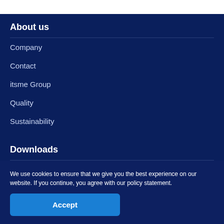About us
Company
Contact
itsme Group
Quality
Sustainability
Downloads
Privacy statement
We use cookies to ensure that we give you the best experience on our website. If you continue, you agree with our policy statement.
Accept